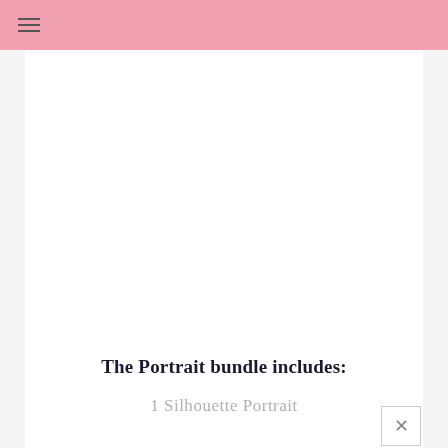≡
[Figure (illustration): Large white/blank image area representing a portrait bundle product image placeholder]
The Portrait bundle includes:
1 Silhouette Portrait